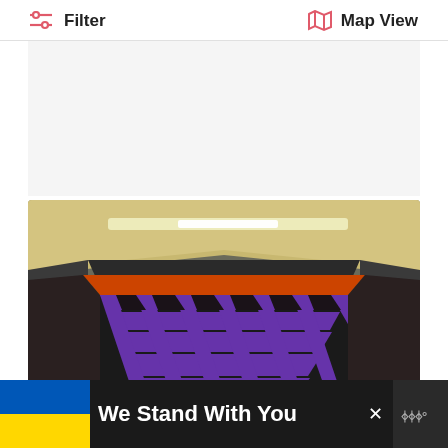Filter   Map View
[Figure (photo): Indoor trampoline park with purple-padded trampolines arranged in a grid, orange border padding, viewed from a high angle with fisheye lens effect, large warehouse-style building interior]
Northamptonshire, Corby
[Figure (infographic): Ad banner: Ukrainian flag colors (blue and yellow) on the left, text 'We Stand With You' in white on dark background, close button (x), and a logo on the right side]